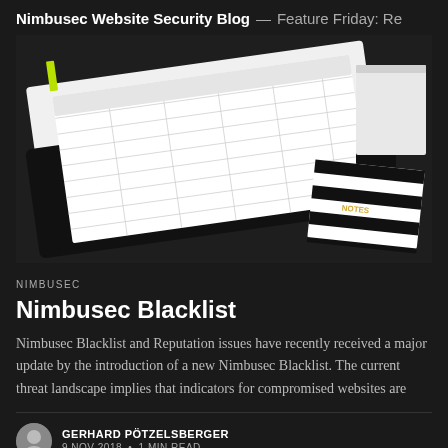Nimbusec Website Security Blog — Feature Friday: Re…
[Figure (photo): A black spiral-bound planner/organizer with a grid table layout open, alongside a black-and-white striped notepad labeled NOTES, on a white surface.]
NIMBUSEC
Nimbusec Blacklist
Nimbusec Blacklist and Reputation issues have recently received a major update by the introduction of a new Nimbusec Blacklist. The current threat landscape implies that indicators for compromised websites are
GERHARD PÖTZELSBERGER
9 NOV 2018 • 1 MIN READ